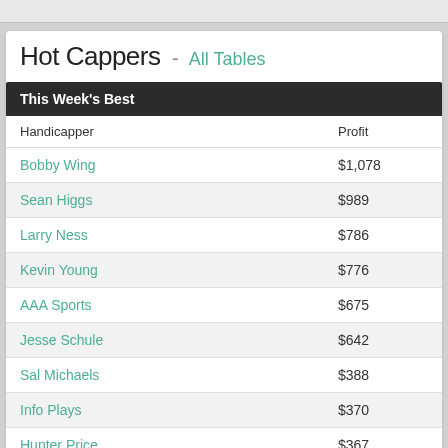Hot Cappers - All Tables
| Handicapper | Profit |
| --- | --- |
| Bobby Wing | $1,078 |
| Sean Higgs | $989 |
| Larry Ness | $786 |
| Kevin Young | $776 |
| AAA Sports | $675 |
| Jesse Schule | $642 |
| Sal Michaels | $388 |
| Info Plays | $370 |
| Hunter Price | $367 |
| Brody Vaughn | $315 |